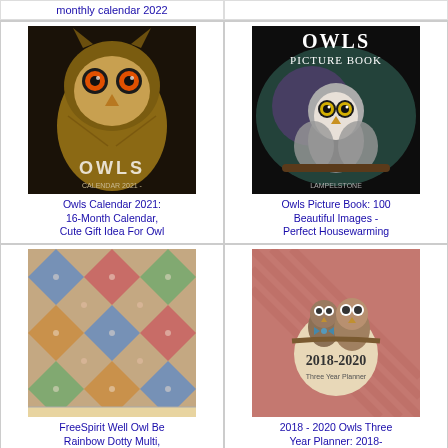monthly calendar 2022
[Figure (photo): Book cover: Owls Calendar 2021 with close-up owl photo with orange eyes]
Owls Calendar 2021: 16-Month Calendar, Cute Gift Idea For Owl
[Figure (photo): Book cover: Owls Picture Book with small owl perched on branch]
Owls Picture Book: 100 Beautiful Images - Perfect Housewarming
[Figure (photo): FreeSpirit fabric swatch showing rainbow dotty multi pattern]
FreeSpirit Well Owl Be Rainbow Dotty Multi, Fabric by The Yard
[Figure (photo): 2018-2020 Three Year Planner book cover with cartoon owl illustration]
2018 - 2020 Owls Three Year Planner: 2018-2020 Monthly Schedule
[Figure (photo): Great Horned Owl: A Picture Book For Kids - partial bottom of page]
[Figure (photo): 2022-2023 Two Year Planner - partial bottom of page]